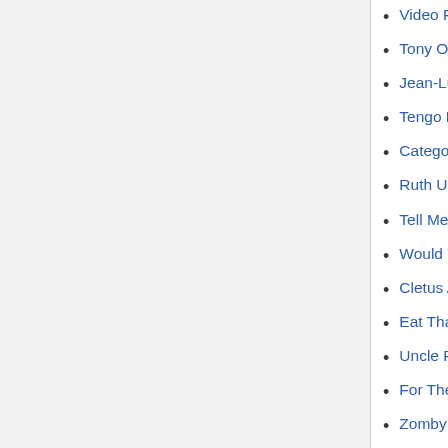Video From Hell  (← links)
Tony Ortega  (← links)
Jean-Luc Ponty  (← links)
Tengo Ná Minchia Tanta (BTB)  (← links)
Category:Side Projects  (← links)
Ruth Underwood  (← links)
Tell Me You Love Me  (← links)
Would You Go All The Way?  (← links)
Cletus Awreetus-Awrightus  (← links)
Eat That Question  (← links)
Uncle Remus  (← links)
For The Young Sophisticate  (← links)
Zomby Woof  (← links)
200 Motels (The Film)  (← links)
The True Story Of 200 Motels  (← links)